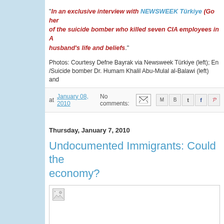“In an exclusive interview with NEWSWEEK Türkiye (Go her... of the suicide bomber who killed seven CIA employees in A... husband’s life and beliefs.”
Photos: Courtesy Defne Bayrak via Newsweek Türkiye (left); En.../Suicide bomber Dr. Humam Khalil Abu-Mulal al-Balawi (left) and...
at January 08, 2010  No comments:
Thursday, January 7, 2010
Undocumented Immigrants: Could the economy?
[Figure (photo): Broken image placeholder for blog post about undocumented immigrants]